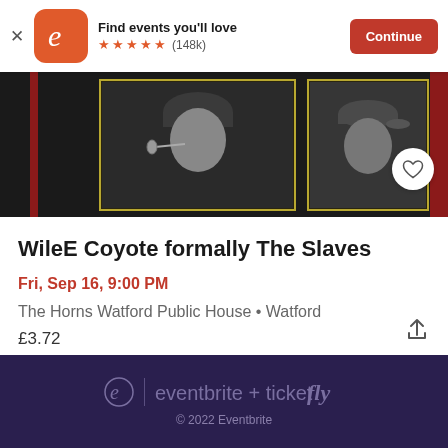[Figure (screenshot): Eventbrite app advertisement banner with orange logo, 5 star rating (148k reviews), and Continue button]
[Figure (photo): Black and white photo strip showing two musicians performing live, one with beanie hat at microphone, one with cap]
WileE Coyote formally The Slaves
Fri, Sep 16, 9:00 PM
The Horns Watford Public House • Watford
£3.72
eventbrite + ticketfly
© 2022 Eventbrite